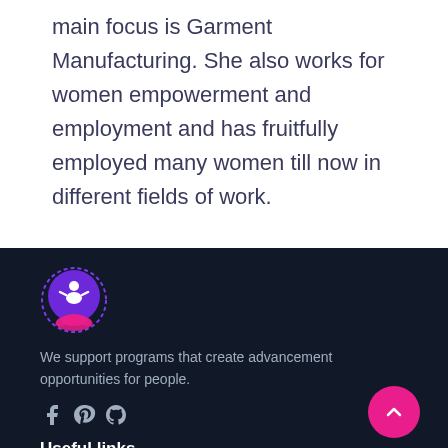main focus is Garment Manufacturing. She also works for women empowerment and employment and has fruitfully employed many women till now in different fields of work.
[Figure (logo): Circular logo with a meditating figure in white on a purple background with pink decorative base]
We support programs that create advancement opportunities for people.
[Figure (other): Social media icons: Facebook, Pinterest, GitHub]
Useful links